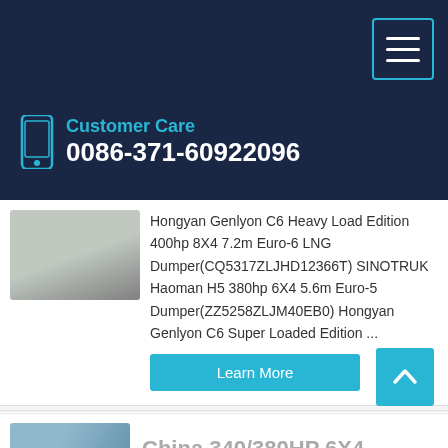Customer Care
0086-371-60922096
Hongyan Genlyon C6 Heavy Load Edition 400hp 8X4 7.2m Euro-6 LNG Dumper(CQ5317ZLJHD12366T) SINOTRUK Haoman H5 380hp 6X4 5.6m Euro-5 Dumper(ZZ5258ZLJM40EB0) Hongyan Genlyon C6 Super Loaded Edition ...
Learn More
China 340/380HP 6X4